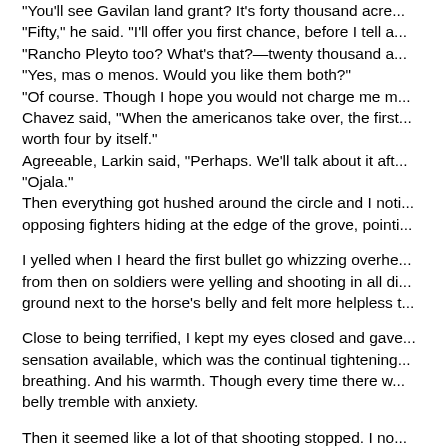You'll see Gavilan land grant? It's forty thousand acre... "Fifty," he said. "I'll offer you first chance, before I tell a... "Rancho Pleyto too? What's that?—twenty thousand a... "Yes, mas o menos. Would you like them both?" "Of course. Though I hope you would not charge me m... Chavez said, "When the americanos take over, the first... worth four by itself." Agreeable, Larkin said, "Perhaps. We'll talk about it aft... "Ojala." Then everything got hushed around the circle and I noti... opposing fighters hiding at the edge of the grove, pointi...
I yelled when I heard the first bullet go whizzing overhe... from then on soldiers were yelling and shooting in all di... ground next to the horse's belly and felt more helpless t...
Close to being terrified, I kept my eyes closed and gave... sensation available, which was the continual tightening... breathing. And his warmth. Though every time there w... belly tremble with anxiety.
Then it seemed like a lot of that shooting stopped. I no... only fired a few shots with his rifle. I said, "Why don't ye...
"It is very hard to see the Americans in the trees. We h... see how hard it will be to get at them. Without getting...